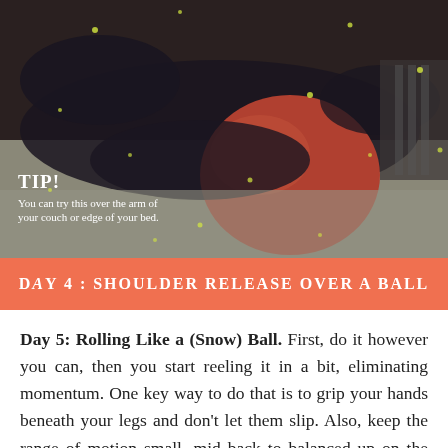[Figure (photo): Person lying on their back over a large red/orange exercise ball performing a shoulder release stretch, photographed indoors on carpet with bokeh sparkle overlay effect]
TIP! You can try this over the arm of your couch or edge of your bed.
DAY 4: SHOULDER RELEASE OVER A BALL
Day 5: Rolling Like a (Snow) Ball. First, do it however you can, then you start reeling it in a bit, eliminating momentum. One key way to do that is to grip your hands beneath your legs and don't let them slip. Also, keep the range of motion small--mid back to balanced up on the pelvis. Can you turn yourself in a circle? Then,